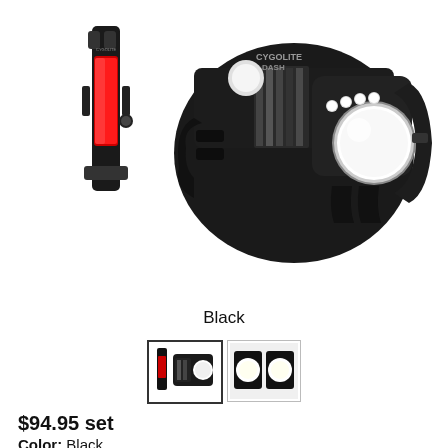[Figure (photo): Product photo showing a Cygolite Dash bicycle front light (black, with LED lights and large circular lens) and a red rear tail light, both displayed together on white background.]
Black
[Figure (photo): Two product thumbnail images: first shows front and rear bike lights together, second shows bright LED light beams.]
$94.95 set
Color:  Black